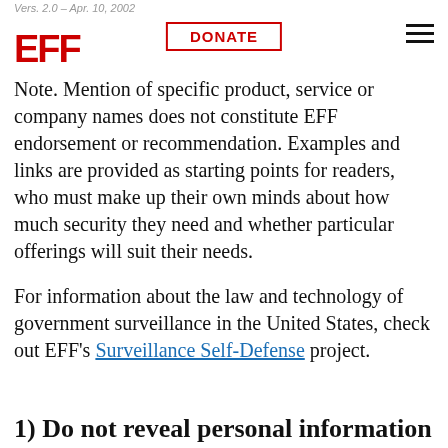Vers. 2.0 – Apr. 10, 2002 | EFF | DONATE
Note. Mention of specific product, service or company names does not constitute EFF endorsement or recommendation. Examples and links are provided as starting points for readers, who must make up their own minds about how much security they need and whether particular offerings will suit their needs.
For information about the law and technology of government surveillance in the United States, check out EFF's Surveillance Self-Defense project.
1) Do not reveal personal information